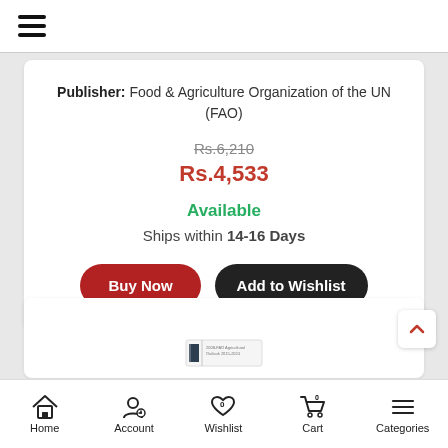Hamburger menu icon
Publisher: Food & Agriculture Organization of the UN (FAO)
Rs.6,210
Rs.4,533
Available
Ships within 14-16 Days
Buy Now
Add to Wishlist
[Figure (screenshot): Partial book cover thumbnail visible at bottom of content card]
Home  Account  Wishlist  Cart  Categories